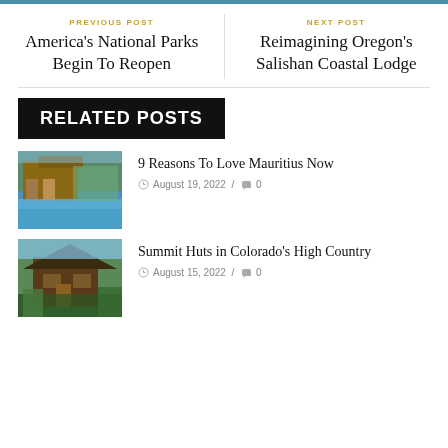PREVIOUS POST
America's National Parks Begin To Reopen
NEXT POST
Reimagining Oregon's Salishan Coastal Lodge
RELATED POSTS
9 Reasons To Love Mauritius Now
August 19, 2022 / 0
Summit Huts in Colorado's High Country
August 15, 2022 / 0